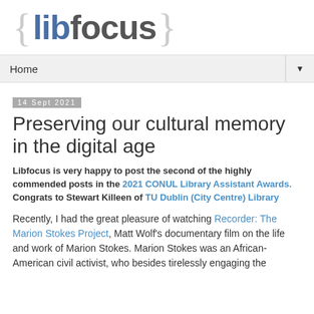{libfocus}
Home ▼
14 Sept 2021
Preserving our cultural memory in the digital age
Libfocus is very happy to post the second of the highly commended posts in the 2021 CONUL Library Assistant Awards.  Congrats to Stewart Killeen of TU Dublin (City Centre) Library
Recently, I had the great pleasure of watching Recorder: The Marion Stokes Project, Matt Wolf's documentary film on the life and work of Marion Stokes. Marion Stokes was an African-American civil activist, who besides tirelessly engaging the